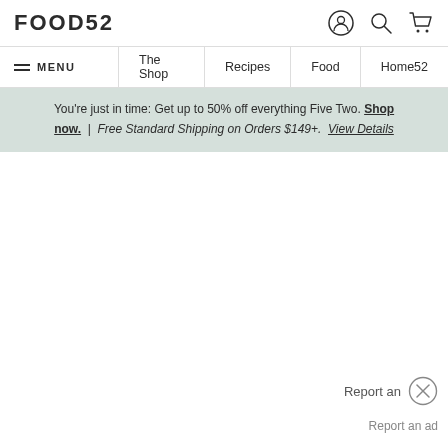FOOD52
MENU | The Shop | Recipes | Food | Home52
You're just in time: Get up to 50% off everything Five Two. Shop now. | Free Standard Shipping on Orders $149+. View Details